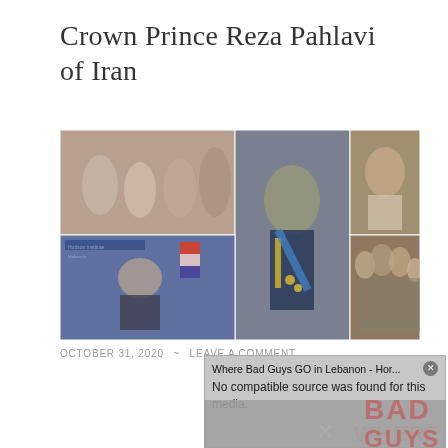Crown Prince Reza Pahlavi of Iran
[Figure (photo): Collage of photos of Crown Prince Reza Pahlavi of Iran: family group photos, young Reza in military uniform with sash and medals, portrait as young man, bride in wedding veil, Reza speaking at Hudson Institute podium, family formal portrait in royal attire]
OCTOBER 31, 2020 ~ LEAVE A COMMENT
Continue reading →
[Figure (screenshot): Popup overlay showing 'Where Bad Guys GO in Lebanon - Hor...' with message 'No compatible source was found for this media.' and a close button, with partial text 'WHERE BAD GUYS' visible in background]